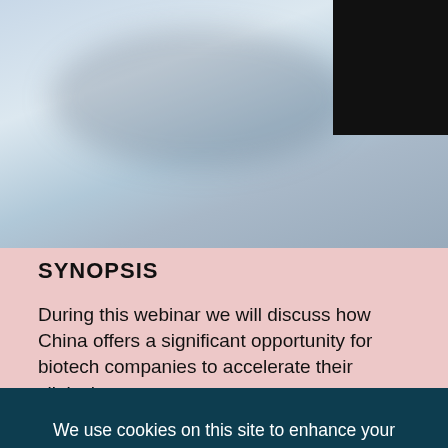[Figure (photo): Blurry aerial or sky photo with a black rectangle in the top-right corner]
SYNOPSIS
During this webinar we will discuss how China offers a significant opportunity for biotech companies to accelerate their clinical
We use cookies on this site to enhance your user experience, please review our privacy policy. If you continue to use this site, you consent to our use of cookies.
Accept